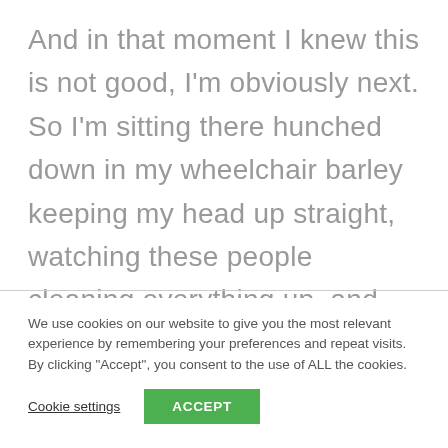And in that moment I knew this is not good, I'm obviously next. So I'm sitting there hunched down in my wheelchair barley keeping my head up straight, watching these people cleaning everything up, and preparing all for the next OP. And from one second to another I feel how something
We use cookies on our website to give you the most relevant experience by remembering your preferences and repeat visits. By clicking "Accept", you consent to the use of ALL the cookies.
Cookie settings
ACCEPT